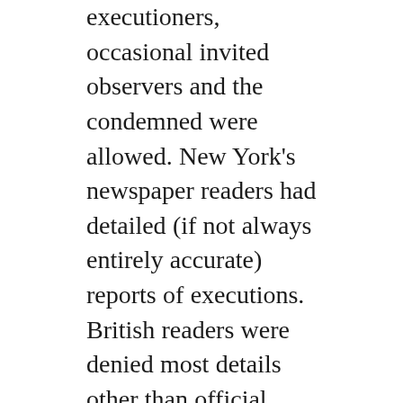executioners, occasional invited observers and the condemned were allowed. New York’s newspaper readers had detailed (if not always entirely accurate) reports of executions. British readers were denied most details other than official notices posted on prison gates after a hanging. British executions were shrouded in official secrecy. New York’s were openly reported so Justice could be seen to be served.
Executions were traditionally performed on Thursdays, known as